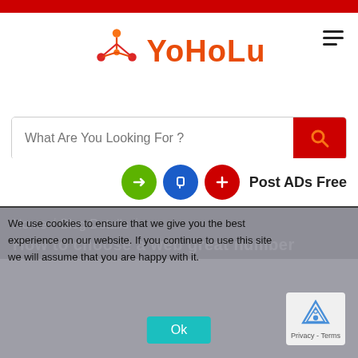[Figure (logo): YoHoLu logo with orange/red figure icon and orange text]
What Are You Looking For ?
Post ADs Free
Home / Blog Details /
How to choose a web great number
We use cookies to ensure that we give you the best experience on our website. If you continue to use this site we will assume that you are happy with it.
Ok